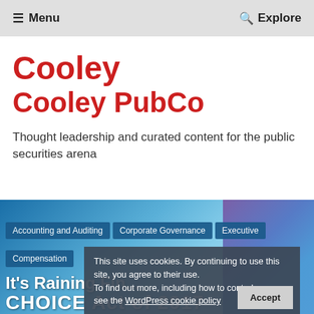≡ Menu   🔍 Explore
Cooley
Cooley PubCo
Thought leadership and curated content for the public securities arena
[Figure (screenshot): Navigation banner with blue sky background showing category tabs: Accounting and Auditing, Corporate Governance, Executive, Compensation, and an article title beginning with "It's Raining Fin..." and "CHOICE Act of 2017"]
This site uses cookies. By continuing to use this site, you agree to their use. To find out more, including how to control cookies, see the WordPress cookie policy